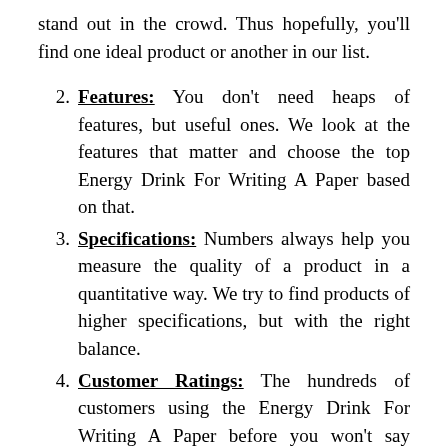stand out in the crowd. Thus hopefully, you'll find one ideal product or another in our list.
Features: You don't need heaps of features, but useful ones. We look at the features that matter and choose the top Energy Drink For Writing A Paper based on that.
Specifications: Numbers always help you measure the quality of a product in a quantitative way. We try to find products of higher specifications, but with the right balance.
Customer Ratings: The hundreds of customers using the Energy Drink For Writing A Paper before you won't say wrong, would they? Better ratings mean better service experienced by a good